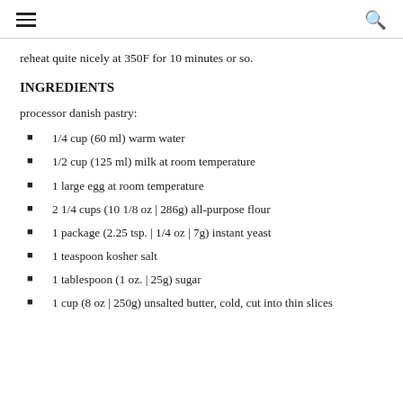☰ 🔍
reheat quite nicely at 350F for 10 minutes or so.
INGREDIENTS
processor danish pastry:
1/4 cup (60 ml) warm water
1/2 cup (125 ml) milk at room temperature
1 large egg at room temperature
2 1/4 cups (10 1/8 oz | 286g) all-purpose flour
1 package (2.25 tsp. | 1/4 oz | 7g) instant yeast
1 teaspoon kosher salt
1 tablespoon (1 oz. | 25g) sugar
1 cup (8 oz | 250g) unsalted butter, cold, cut into thin slices